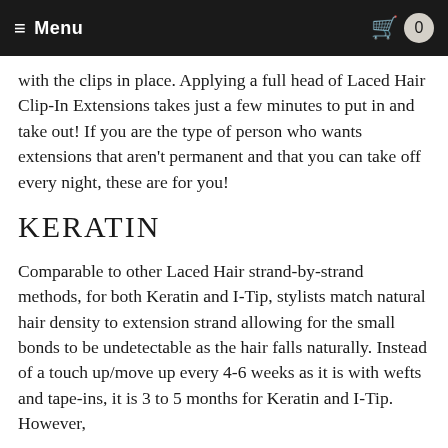Menu  0
with the clips in place. Applying a full head of Laced Hair Clip-In Extensions takes just a few minutes to put in and take out! If you are the type of person who wants extensions that aren't permanent and that you can take off every night, these are for you!
KERATIN
Comparable to other Laced Hair strand-by-strand methods, for both Keratin and I-Tip, stylists match natural hair density to extension strand allowing for the small bonds to be undetectable as the hair falls naturally. Instead of a touch up/move up every 4-6 weeks as it is with wefts and tape-ins, it is 3 to 5 months for Keratin and I-Tip. However,